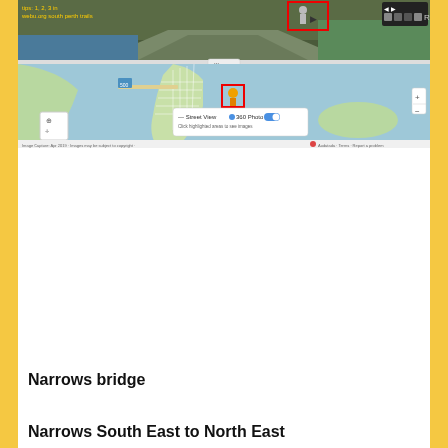[Figure (screenshot): Google Maps screenshot showing Street View and 360 Photo toggle, with a map of a coastal area near South Perth. Top portion shows a 3D street-level view with red highlighted box around a person icon and text 'tips: 1, 2, 3 in webu.org south perth trails'. Bottom portion shows a map view with blue water, green land, street grid, red highlighted marker, a move cursor icon, and a popup showing 'Street View | 360 Photo' toggle with blue toggle enabled, and text 'Click highlighted areas to see images'. Bottom bar shows 'Image Capture: Apr 2019 · Images may be subject to copyright · Audatada · Terms · Report a problem'.]
Narrows bridge
Narrows South East to North East